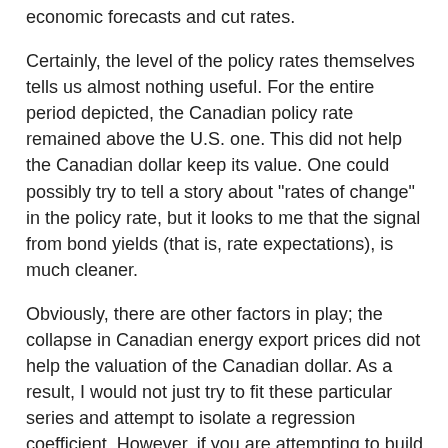economic forecasts and cut rates.
Certainly, the level of the policy rates themselves tells us almost nothing useful. For the entire period depicted, the Canadian policy rate remained above the U.S. one. This did not help the Canadian dollar keep its value. One could possibly try to tell a story about "rates of change" in the policy rate, but it looks to me that the signal from bond yields (that is, rate expectations), is much cleaner.
Obviously, there are other factors in play; the collapse in Canadian energy export prices did not help the valuation of the Canadian dollar. As a result, I would not just try to fit these particular series and attempt to isolate a regression coefficient. However, if you are attempting to build such a model, this case provides an example why you want to work with bond yields, not the level of the policy rate.
Back To The Fed
In order to talk about the U.S. dollar more generally, we would need to look at the situation of the currencies of the United States' other major trading partners. I am not particularly interested in currency analysis, but it seems to me that the situation for Canada is qualitatively similar for